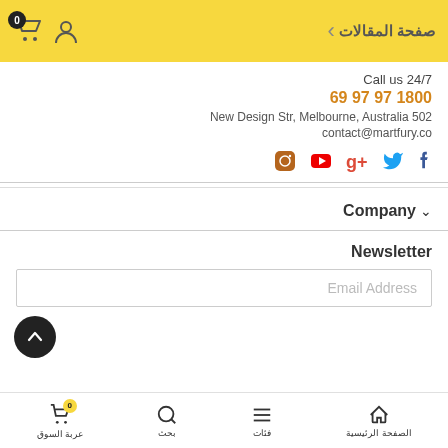صفحة المقالات   [user icon] [cart icon with badge 0]
Call us 24/7
69 97 97 1800
New Design Str, Melbourne, Australia 502
contact@martfury.co
[Figure (infographic): Social media icons: Instagram, YouTube, Google+, Twitter, Facebook]
Company ∨
Newsletter
Email Address
الصفحة الرئيسية  فئات  بحث  عربة السوق (0)